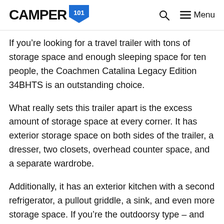CAMPER 101
If you’re looking for a travel trailer with tons of storage space and enough sleeping space for ten people, the Coachmen Catalina Legacy Edition 34BHTS is an outstanding choice.
What really sets this trailer apart is the excess amount of storage space at every corner. It has exterior storage space on both sides of the trailer, a dresser, two closets, overhead counter space, and a separate wardrobe.
Additionally, it has an exterior kitchen with a second refrigerator, a pullout griddle, a sink, and even more storage space. If you’re the outdoorsy type – and what camper isn’t – you’ll love the exterior storage and for the outdoor kitchen.